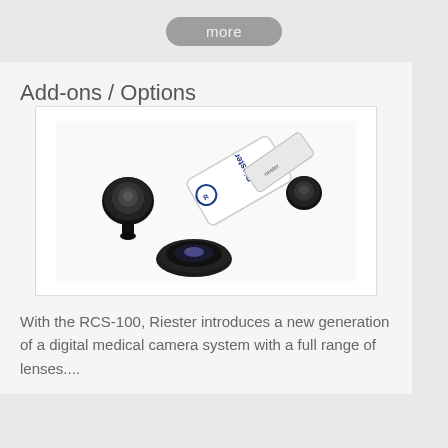more
Add-ons / Options
[Figure (photo): Riester RCS-100 digital medical camera system with multiple lens attachments — a rectangular white device with the Riester logo and two circular/round black lens adapters displayed alongside it.]
With the RCS-100, Riester introduces a new generation of a digital medical camera system with a full range of lenses....